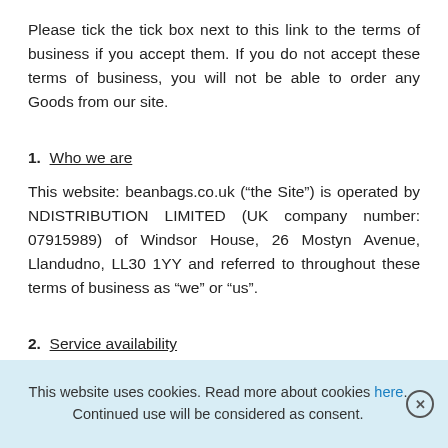Please tick the tick box next to this link to the terms of business if you accept them. If you do not accept these terms of business, you will not be able to order any Goods from our site.
1. Who we are
This website: beanbags.co.uk (“the Site”) is operated by NDISTRIBUTION LIMITED (UK company number: 07915989) of Windsor House, 26 Mostyn Avenue, Llandudno, LL30 1YY and referred to throughout these terms of business as “we” or “us”.
2. Service availability
Some restrictions may be placed on the extent to which we
This website uses cookies. Read more about cookies here. Continued use will be considered as consent.